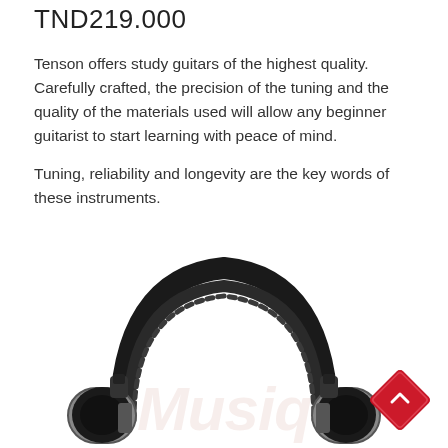TND219.000
Tenson offers study guitars of the highest quality. Carefully crafted, the precision of the tuning and the quality of the materials used will allow any beginner guitarist to start learning with peace of mind.
Tuning, reliability and longevity are the key words of these instruments.
[Figure (photo): Studio over-ear headphones (black and silver) viewed from above/front, showing headband with padding and two ear cups. A watermark logo partially visible at bottom.]